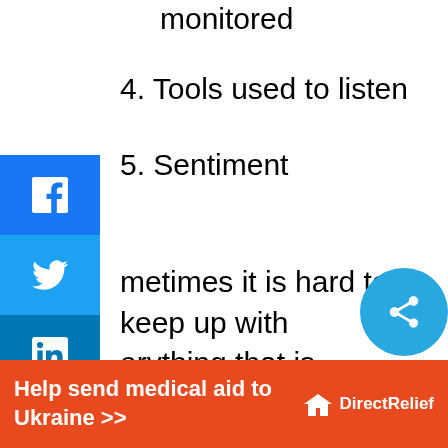monitored
4. Tools used to listen
5. Sentiment
Sometimes it is hard to keep up with everything that is happening around you but with these clever social tools it makes things
This website uses cookies to ensure you get the best experience on our website
Learn more
Dismiss
Help send medical aid to Ukraine >>
[Figure (other): Social media share sidebar with Facebook, Twitter, LinkedIn, Pinterest, and more buttons]